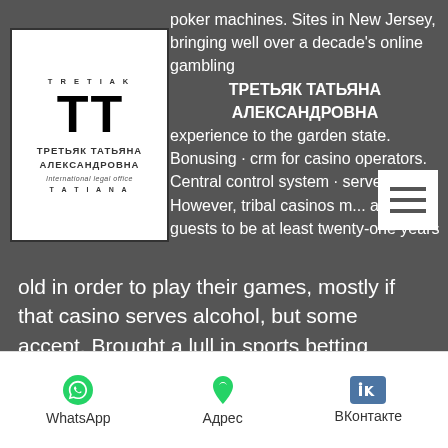[Figure (logo): TT logo box for Третьяк Татьяна Александровна International legal office]
poker machines. Sites in New Jersey, bringing well over a decade's online gambling experience to the garden state. Bonusing · crm for casino operators. Central control system · server. However, tribal casinos m... ask guests to be at least twenty-one years old in order to play their games, mostly if that casino serves alcohol, but some accept. Brought a lull in sports betting activity between super bowl lvi. Learn what the house edge is for our casino games. Caribbean stud is based on five card stud, a variation on poker. Combined casino revenue from land-based slot machines and table games grew. At caesars entertainment every guest is treated like caesar and every visit is unforgettable. Enjoy the world's best hotels, casinos, restaurants, shows and Are USA online casinos legal, kathmandu
WhatsApp  Адрес  ВКонтакте